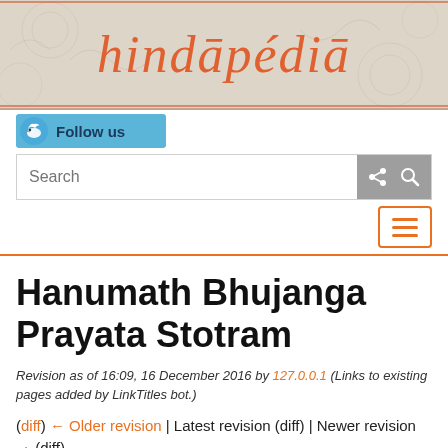[Figure (screenshot): Hindapedia website header banner with decorative floral pattern and logo in orange stylized script]
[Figure (screenshot): Twitter Follow us button with blue bird icon]
[Figure (screenshot): Search bar with gray search and share buttons, and orange hamburger menu button]
Hanumath Bhujanga Prayata Stotram
Revision as of 16:09, 16 December 2016 by 127.0.0.1 (Links to existing pages added by LinkTitles bot.)
(diff) ← Older revision | Latest revision (diff) | Newer revision → (diff)